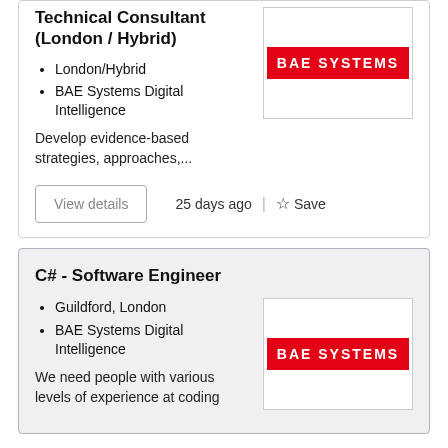Technical Consultant (London / Hybrid)
London/Hybrid
BAE Systems Digital Intelligence
[Figure (logo): BAE Systems logo: white box with red banner reading BAE SYSTEMS in white bold letters]
Develop evidence-based strategies, approaches,...
25 days ago
Save
C# - Software Engineer
Guildford, London
BAE Systems Digital Intelligence
[Figure (logo): BAE Systems logo: white box with red banner reading BAE SYSTEMS in white bold letters]
We need people with various levels of experience at coding